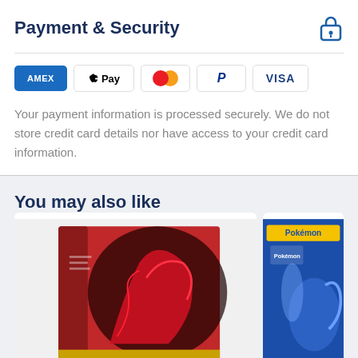Payment & Security
[Figure (illustration): Payment method icons: AMEX, Apple Pay, Mastercard, PayPal, VISA]
Your payment information is processed securely. We do not store credit card details nor have access to your credit card information.
You may also like
[Figure (photo): Pokemon card game box with red dragon illustration]
[Figure (photo): Pokemon blue themed card game box]